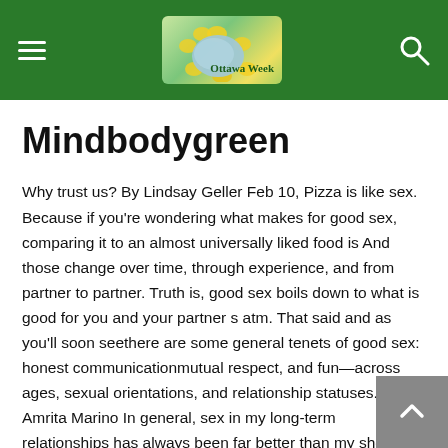Ottawa Week — site header with hamburger menu, logo, and search icon
Mindbodygreen
Why trust us? By Lindsay Geller Feb 10, Pizza is like sex. Because if you're wondering what makes for good sex, comparing it to an almost universally liked food is And those change over time, through experience, and from partner to partner. Truth is, good sex boils down to what is good for you and your partner s atm. That said and as you'll soon seethere are some general tenets of good sex: honest communicationmutual respect, and fun—across ages, sexual orientations, and relationship statuses. Amrita Marino In general, sex in my long-term relationships has always been far better than my short-term hookups, dating sex, etc.